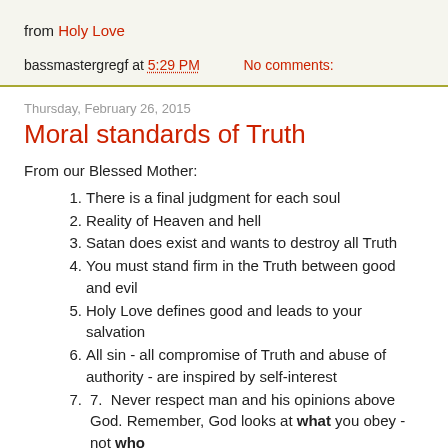from Holy Love
bassmastergregf at 5:29 PM   No comments:
Thursday, February 26, 2015
Moral standards of Truth
From our Blessed Mother:
1. There is a final judgment for each soul
2. Reality of Heaven and hell
3. Satan does exist and wants to destroy all Truth
4. You must stand firm in the Truth between good and evil
5. Holy Love defines good and leads to your salvation
6. All sin - all compromise of Truth and abuse of authority - are inspired by self-interest
7. Never respect man and his opinions above God. Remember, God looks at what you obey - not who